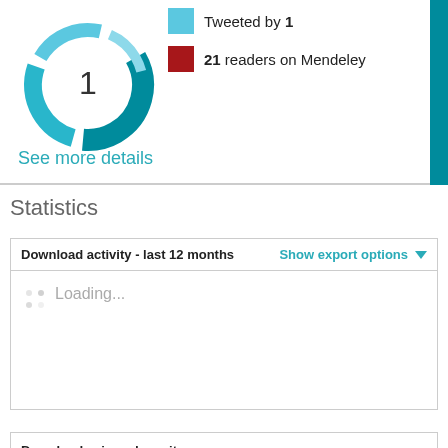[Figure (infographic): Altmetric donut badge showing score of 1, with teal/blue swirling donut shape and white center showing number 1]
Tweeted by 1
21 readers on Mendeley
See more details
Statistics
| Download activity - last 12 months | Show export options |
| --- | --- |
| Loading... |  |
Downloads since deposit